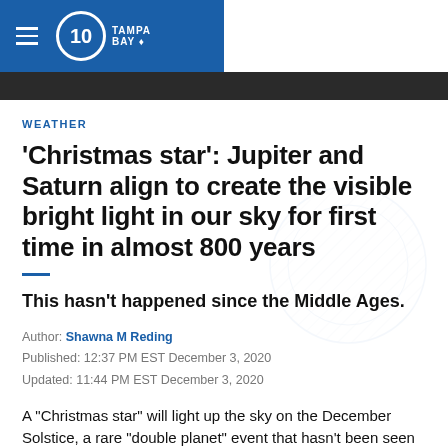10 Tampa Bay
WEATHER
'Christmas star': Jupiter and Saturn align to create the visible bright light in our sky for first time in almost 800 years
This hasn't happened since the Middle Ages.
Author: Shawna M Reding
Published: 12:37 PM EST December 3, 2020
Updated: 11:44 PM EST December 3, 2020
A "Christmas star" will light up the sky on the December Solstice, a rare "double planet" event that hasn't been seen